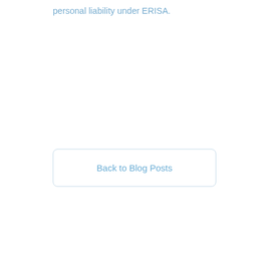personal liability under ERISA.
Back to Blog Posts